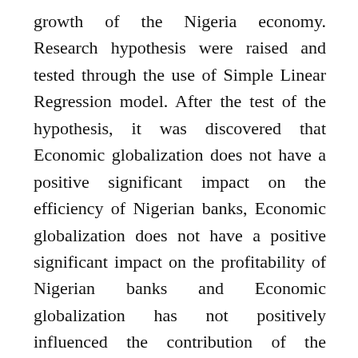growth of the Nigeria economy. Research hypothesis were raised and tested through the use of Simple Linear Regression model. After the test of the hypothesis, it was discovered that Economic globalization does not have a positive significant impact on the efficiency of Nigerian banks, Economic globalization does not have a positive significant impact on the profitability of Nigerian banks and Economic globalization has not positively influenced the contribution of the banking sector to the growth of the Nigerian economy. Based on